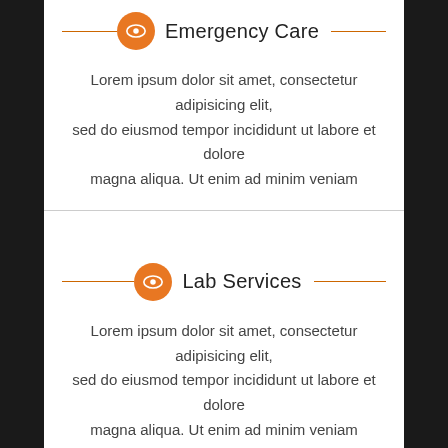Emergency Care
Lorem ipsum dolor sit amet, consectetur adipisicing elit, sed do eiusmod tempor incididunt ut labore et dolore magna aliqua. Ut enim ad minim veniam
Lab Services
Lorem ipsum dolor sit amet, consectetur adipisicing elit, sed do eiusmod tempor incididunt ut labore et dolore magna aliqua. Ut enim ad minim veniam
Dental Care